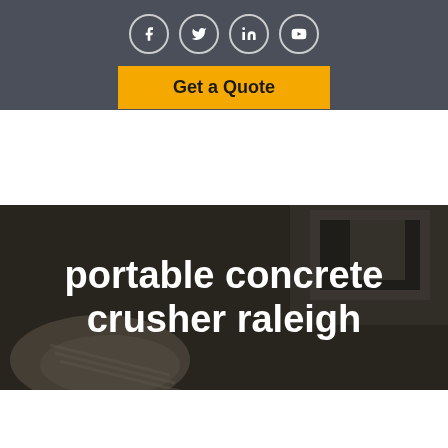[Figure (other): Social media icons row: Facebook, Twitter, LinkedIn, YouTube — white icons in circular outlines on dark gray background]
[Figure (other): Yellow/gold 'Get a Quote' button on dark gray header bar]
[Figure (photo): Dark-toned interior room photo with fireplace and pillows, overlaid with large white bold text reading 'portable concrete crusher raleigh']
portable concrete crusher raleigh